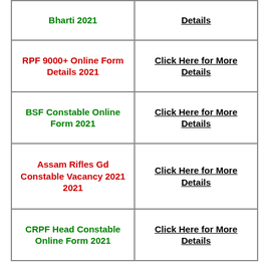| Vacancy/Form Name | More Details Link |
| --- | --- |
| Bharti 2021 | Details |
| RPF 9000+ Online Form Details 2021 | Click Here for More Details |
| BSF Constable Online Form 2021 | Click Here for More Details |
| Assam Rifles Gd Constable Vacancy 2021 2021 | Click Here for More Details |
| CRPF Head Constable Online Form 2021 | Click Here for More Details |
Note:- Interested candidates can submit the application through the Online link Full Notification given through the official website or in the important links section directly below.